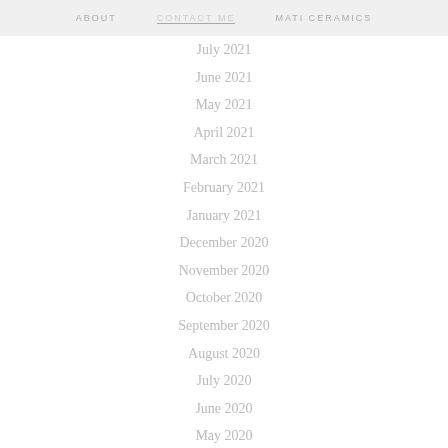ABOUT   CONTACT ME   MATI CERAMICS
July 2021
June 2021
May 2021
April 2021
March 2021
February 2021
January 2021
December 2020
November 2020
October 2020
September 2020
August 2020
July 2020
June 2020
May 2020
April 2020
March 2020
February 2020